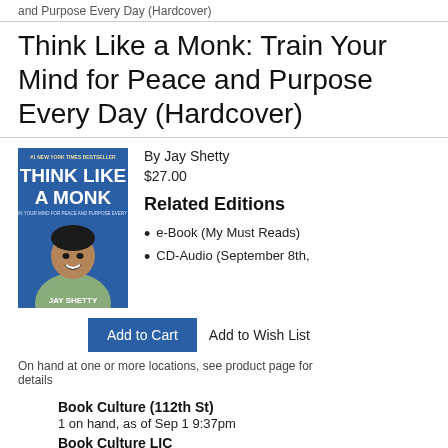and Purpose Every Day (Hardcover)
Think Like a Monk: Train Your Mind for Peace and Purpose Every Day (Hardcover)
[Figure (photo): Book cover of Think Like a Monk by Jay Shetty, showing the author smiling against a blue background with the title in large white text]
By Jay Shetty
$27.00
Related Editions
e-Book (My Must Reads)
CD-Audio (September 8th,
Add to Cart   Add to Wish List
On hand at one or more locations, see product page for details
Book Culture (112th St)
1 on hand, as of Sep 1 9:37pm
Book Culture LIC
1 on hand, as of Sep 1 8:07pm